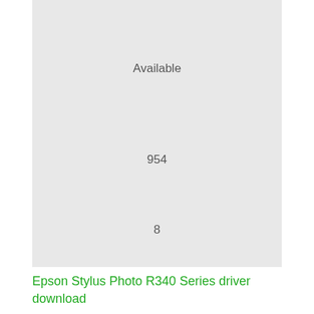Available
954
8
491
591
Epson Stylus Photo R340 Series driver download